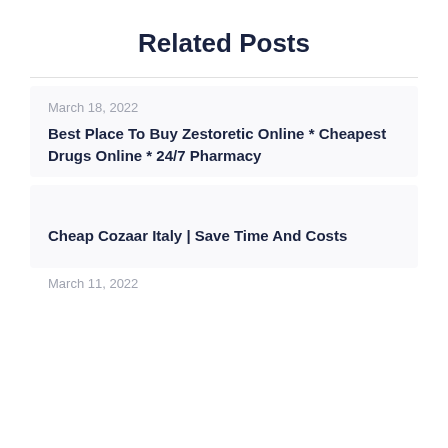Related Posts
March 18, 2022
Best Place To Buy Zestoretic Online * Cheapest Drugs Online * 24/7 Pharmacy
Cheap Cozaar Italy | Save Time And Costs
March 11, 2022